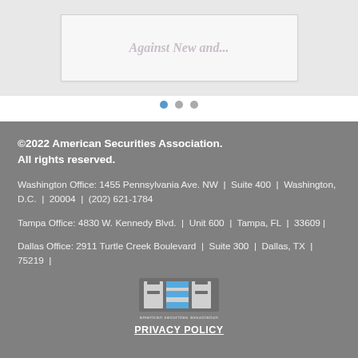[Figure (screenshot): Partial card/slide showing truncated text 'Against New and...' on a light gray background]
[Figure (other): Carousel navigation dots: one blue (active), two gray]
©2022 American Securities Association. All rights reserved.
Washington Office: 1455 Pennsylvania Ave. NW  |  Suite 400  |  Washington, D.C.  |  20004  |  (202) 621-1784
Tampa Office: 4830 W. Kennedy Blvd.  |  Unit 600  |  Tampa, FL  |  33609 |
Dallas Office: 2911 Turtle Creek Boulevard  |  Suite 300  |  Dallas, TX  |  75219  |
[Figure (logo): American Securities Association (ASA) logo - white letters ASA with blue accent on gray background, text 'american securities association' below]
PRIVACY POLICY